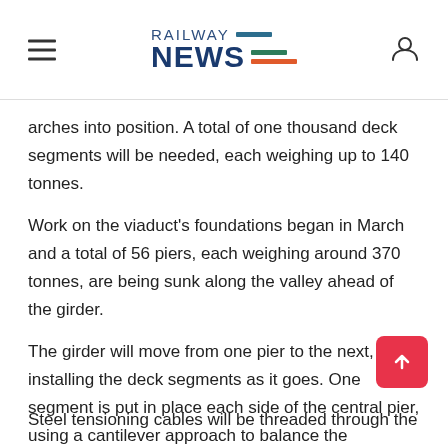RAILWAY NEWS
arches into position. A total of one thousand deck segments will be needed, each weighing up to 140 tonnes.
Work on the viaduct's foundations began in March and a total of 56 piers, each weighing around 370 tonnes, are being sunk along the valley ahead of the girder.
The girder will move from one pier to the next, installing the deck segments as it goes. One segment is put in place each side of the central pier, using a cantilever approach to balance the structure, as two half-arches either side of each pier are constructed simultaneously.
Steel tensioning cables will be threaded through the